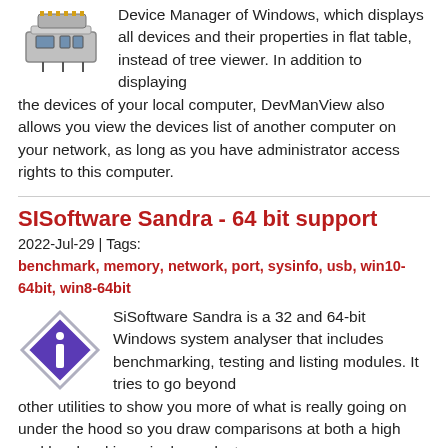Device Manager of Windows, which displays all devices and their properties in flat table, instead of tree viewer. In addition to displaying the devices of your local computer, DevManView also allows you view the devices list of another computer on your network, as long as you have administrator access rights to this computer.
SISoftware Sandra - 64 bit support
2022-Jul-29 | Tags:
benchmark, memory, network, port, sysinfo, usb, win10-64bit, win8-64bit
SiSoftware Sandra is a 32 and 64-bit Windows system analyser that includes benchmarking, testing and listing modules. It tries to go beyond other utilities to show you more of what is really going on under the hood so you draw comparisons at both a high and low-level in a single product.
MiTeC Task Manager DeLuxe 64bit version